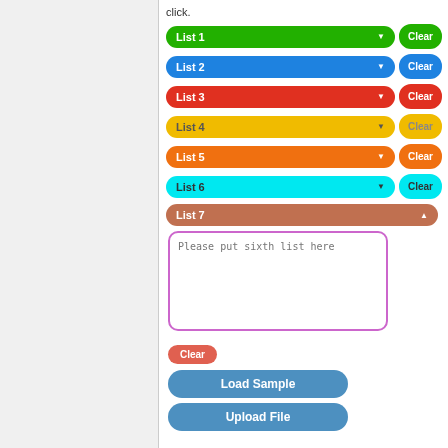click.
[Figure (screenshot): UI interface showing 7 colorful dropdown list selectors (List 1 through List 7) with corresponding Clear buttons, a textarea with placeholder 'Please put sixth list here', a salmon Clear button, and two blue buttons: Load Sample and Upload File.]